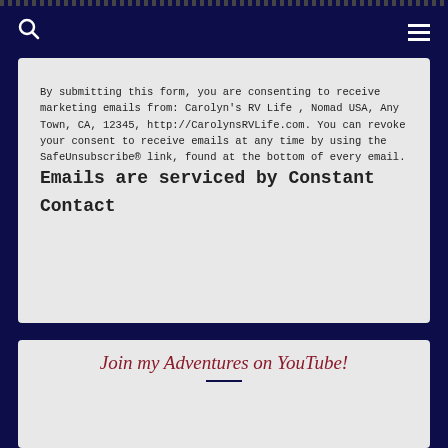Navigation bar with search and menu icons
By submitting this form, you are consenting to receive marketing emails from: Carolyn's RV Life , Nomad USA, Any Town, CA, 12345, http://CarolynsRVLife.com. You can revoke your consent to receive emails at any time by using the SafeUnsubscribe® link, found at the bottom of every email. Emails are serviced by Constant Contact
Join my Adventures on YouTube!
[Figure (screenshot): YouTube video thumbnail showing 'Solo Woman Living in an RV...' with avatar]